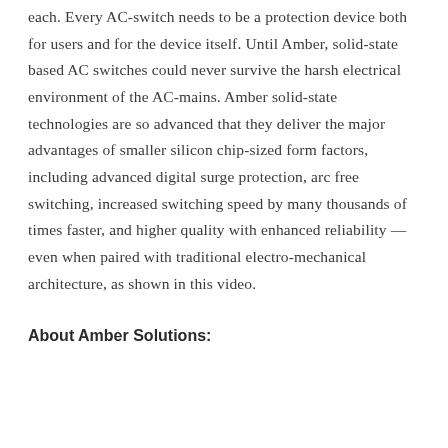each. Every AC-switch needs to be a protection device both for users and for the device itself. Until Amber, solid-state based AC switches could never survive the harsh electrical environment of the AC-mains. Amber solid-state technologies are so advanced that they deliver the major advantages of smaller silicon chip-sized form factors, including advanced digital surge protection, arc free switching, increased switching speed by many thousands of times faster, and higher quality with enhanced reliability — even when paired with traditional electro-mechanical architecture, as shown in this video.
About Amber Solutions: